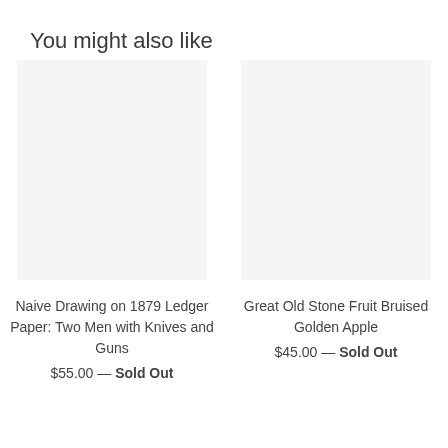You might also like
Naive Drawing on 1879 Ledger Paper: Two Men with Knives and Guns
$55.00 — Sold Out
Great Old Stone Fruit Bruised Golden Apple
$45.00 — Sold Out